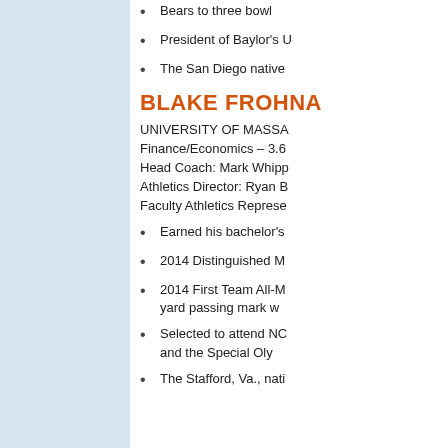Bears to three bowl
President of Baylor's U
The San Diego native
BLAKE FROHNA
UNIVERSITY OF MASSA
Finance/Economics – 3.6
Head Coach: Mark Whipp
Athletics Director: Ryan B
Faculty Athletics Represe
Earned his bachelor's
2014 Distinguished M
2014 First Team All-M yard passing mark w
Selected to attend NC and the Special Oly
The Stafford, Va., nati